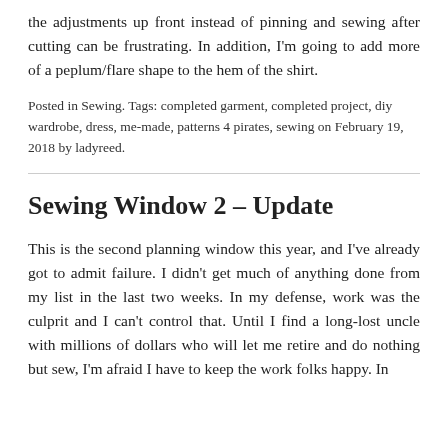the adjustments up front instead of pinning and sewing after cutting can be frustrating. In addition, I'm going to add more of a peplum/flare shape to the hem of the shirt.
Posted in Sewing. Tags: completed garment, completed project, diy wardrobe, dress, me-made, patterns 4 pirates, sewing on February 19, 2018 by ladyreed.
Sewing Window 2 – Update
This is the second planning window this year, and I've already got to admit failure. I didn't get much of anything done from my list in the last two weeks. In my defense, work was the culprit and I can't control that. Until I find a long-lost uncle with millions of dollars who will let me retire and do nothing but sew, I'm afraid I have to keep the work folks happy. In